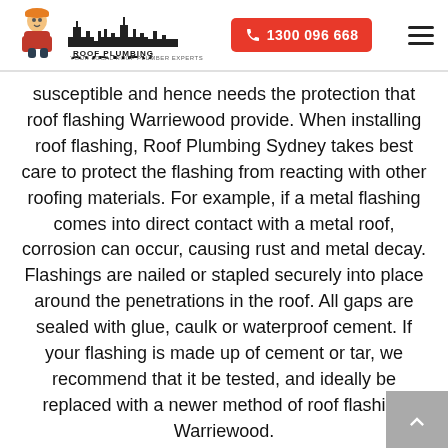Roof Plumbing Sydney | 1300 096 668
susceptible and hence needs the protection that roof flashing Warriewood provide. When installing roof flashing, Roof Plumbing Sydney takes best care to protect the flashing from reacting with other roofing materials. For example, if a metal flashing comes into direct contact with a metal roof, corrosion can occur, causing rust and metal decay. Flashings are nailed or stapled securely into place around the penetrations in the roof. All gaps are sealed with glue, caulk or waterproof cement. If your flashing is made up of cement or tar, we recommend that it be tested, and ideally be replaced with a newer method of roof flashing Warriewood.